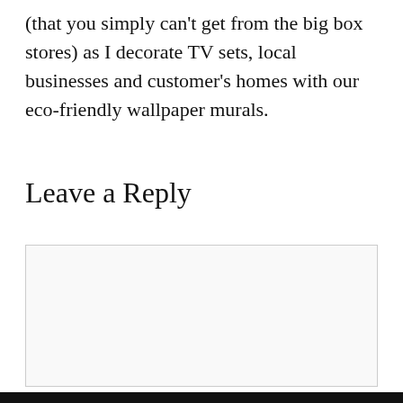(that you simply can't get from the big box stores) as I decorate TV sets, local businesses and customer's homes with our eco-friendly wallpaper murals.
Leave a Reply
Enter your comment here...